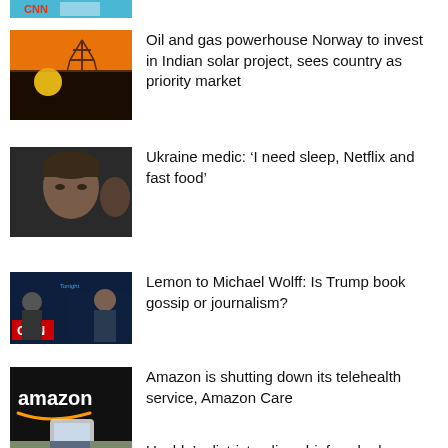[Figure (photo): Partial thumbnail of a news article at top of page, shows blue sky/logo]
Oil and gas powerhouse Norway to invest in Indian solar project, sees country as priority market
Ukraine medic: ‘I need sleep, Netflix and fast food’
Lemon to Michael Wolff: Is Trump book gossip or journalism?
Amazon is shutting down its telehealth service, Amazon Care
Uvalde’s district police chief sacked over